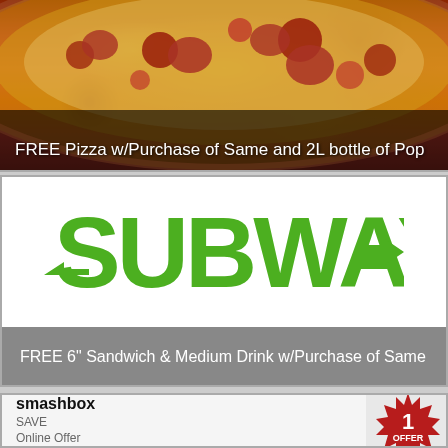[Figure (photo): Pizza photo with red tomato sauce, toppings, in a dark background]
FREE Pizza w/Purchase of Same and 2L bottle of Pop
[Figure (logo): Subway logo in green with arrow motif]
FREE 6" Sandwich & Medium Drink w/Purchase of Same
smashbox
SAVE
Online Offer
[Figure (infographic): Red starburst badge with number 1 and text OFFER]